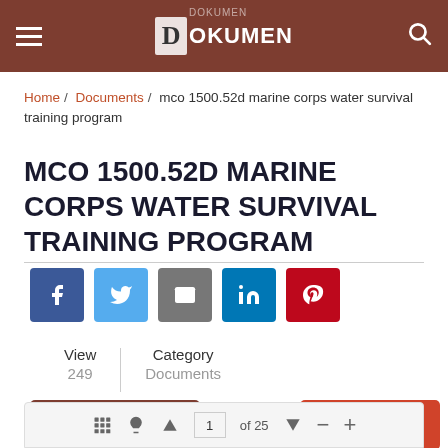Dokumen
Home / Documents / mco 1500.52d marine corps water survival training program
MCO 1500.52D MARINE CORPS WATER SURVIVAL TRAINING PROGRAM
[Figure (infographic): Social sharing buttons: Facebook, Twitter, Email, LinkedIn, Pinterest]
| View | Category |
| --- | --- |
| 249 | Documents |
Download   Report
1 of 25